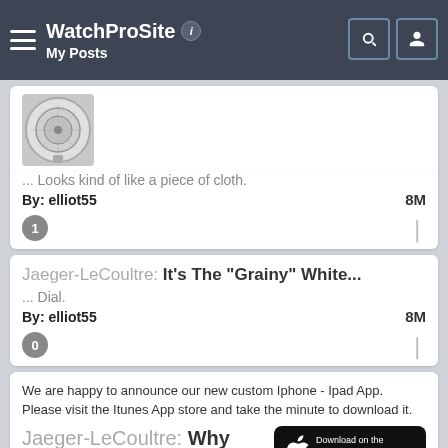WatchProSite — My Posts
[Figure (photo): Partial view of a watch caseback/movement]
... Looks kind of like a piece of cloth.
By: elliot55   8M
Jaeger-LeCoultre: It's The "Grainy" White...
... Dial.
By: elliot55   8M
We are happy to announce our new custom Iphone - Ipad App. Please visit the Itunes App store and take the minute to download it.
Jaeger-LeCoultre: Why Thank You, Sir...
[Figure (logo): Download on the App Store button]
It's not here yet, but it wont be long now...